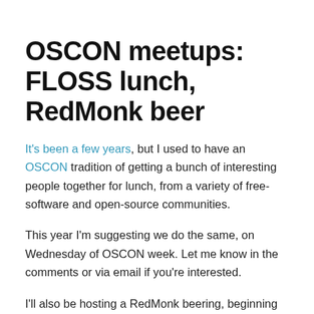OSCON meetups: FLOSS lunch, RedMonk beer
It's been a few years, but I used to have an OSCON tradition of getting a bunch of interesting people together for lunch, from a variety of free-software and open-source communities.
This year I'm suggesting we do the same, on Wednesday of OSCON week. Let me know in the comments or via email if you're interested.
I'll also be hosting a RedMonk beering, beginning Wednesday night around 9:30-10... Location TBD...